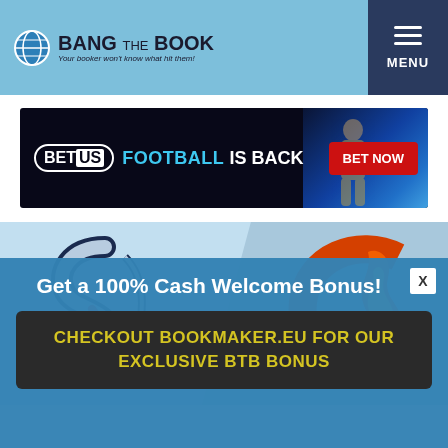BANG THE BOOK — Your booker won't know what hit them!
[Figure (screenshot): BetUS advertisement banner: FOOTBALL IS BACK — BET NOW]
[Figure (logo): Seattle Kraken vs Calgary Flames NHL team logos on light blue background]
Get a 100% Cash Welcome Bonus!
CHECKOUT BOOKMAKER.EU FOR OUR EXCLUSIVE BTB BONUS